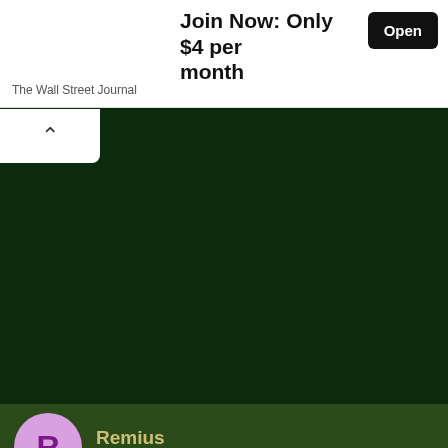Join Now: Only $4 per month
Open
The Wall Street Journal
[Figure (other): Dark green background area representing a forum/website interface with collapsed content]
Remius
Army.ca Fixture
16 Aug 2021
#63
This site uses cookies to help personalise content, tailor your experience and to keep you logged in if you register.
By continuing to use this site, you are consenting to our use of cookies.
✓ Accept
Learn more...